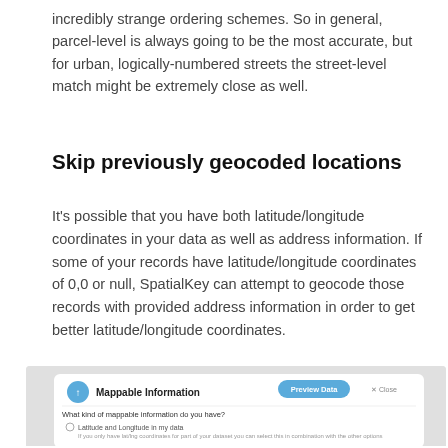incredibly strange ordering schemes. So in general, parcel-level is always going to be the most accurate, but for urban, logically-numbered streets the street-level match might be extremely close as well.
Skip previously geocoded locations
It's possible that you have both latitude/longitude coordinates in your data as well as address information. If some of your records have latitude/longitude coordinates of 0,0 or null, SpatialKey can attempt to geocode those records with provided address information in order to get better latitude/longitude coordinates.
[Figure (screenshot): Screenshot of SpatialKey 'Mappable Information' dialog with Preview Data button, showing options: Latitude and Longitude in my data, Street addresses to be geocoded (checked), Skip Previously Geocoded Locations? (checked)]